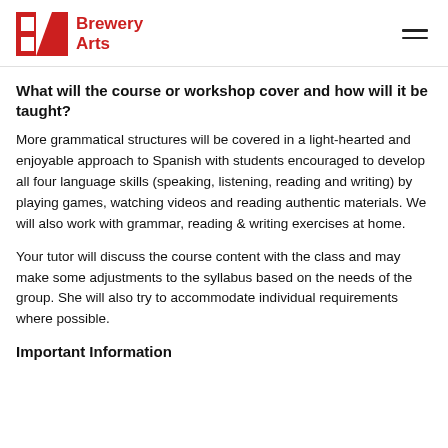Brewery Arts
What will the course or workshop cover and how will it be taught?
More grammatical structures will be covered in a light-hearted and enjoyable approach to Spanish with students encouraged to develop all four language skills (speaking, listening, reading and writing) by playing games, watching videos and reading authentic materials. We will also work with grammar, reading & writing exercises at home.
Your tutor will discuss the course content with the class and may make some adjustments to the syllabus based on the needs of the group. She will also try to accommodate individual requirements where possible.
Important Information